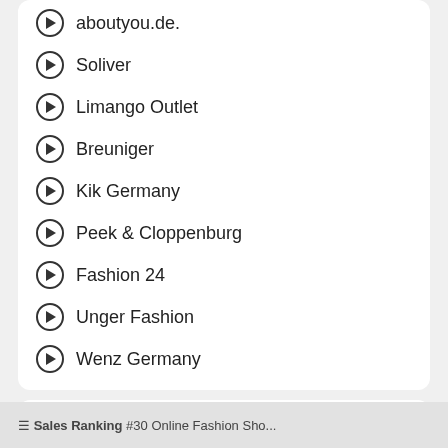aboutyou.de.
Soliver
Limango Outlet
Breuniger
Kik Germany
Peek & Cloppenburg
Fashion 24
Unger Fashion
Wenz Germany
Bonprix Fun Facts
Quickly compare Bonprix.de with other similar Zalando, Asos Germany, Baur Germany and others.